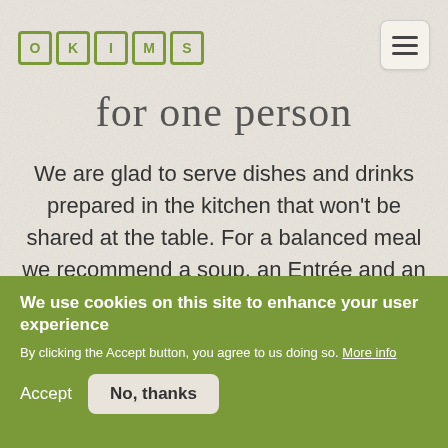[Figure (logo): OKIMS logo with individual green square-bordered letters]
for one person
We are glad to serve dishes and drinks prepared in the kitchen that won’t be shared at the table. For a balanced meal we recommend a soup, an Entrée and an appetizer or dessert, but keep in mind that the Entrée is usually served with banchan.
We use cookies on this site to enhance your user experience
By clicking the Accept button, you agree to us doing so. More info
Accept   No, thanks